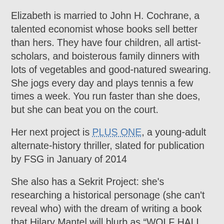Elizabeth is married to John H. Cochrane, a talented economist whose books sell better than hers. They have four children, all artist-scholars, and boisterous family dinners with lots of vegetables and good-natured swearing. She jogs every day and plays tennis a few times a week. You run faster than she does, but she can beat you on the court.
Her next project is PLUS ONE, a young-adult alternate-history thriller, slated for publication by FSG in January of 2014
She also has a Sekrit Project: she's researching a historical personage (she can't reveal who) with the dream of writing a book that Hilary Mantel will blurb as “WOLF HALL set in Italy for